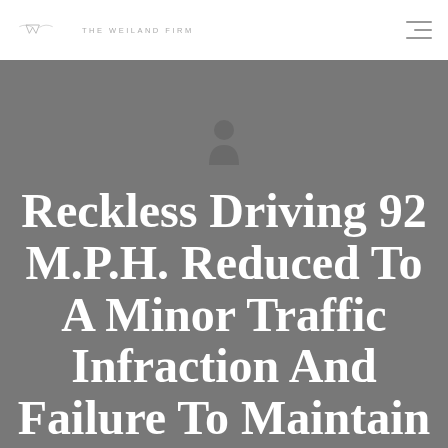THE WEILAND FIRM
Reckless Driving 92 M.P.H. Reduced To A Minor Traffic Infraction And Failure To Maintain